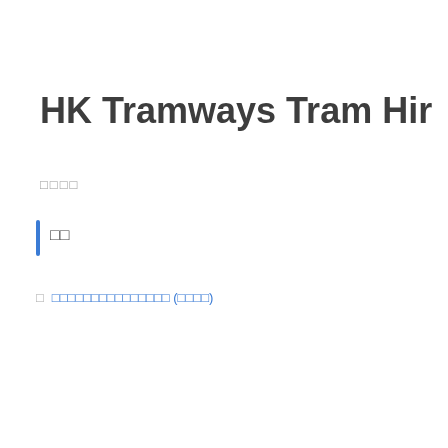HK Tramways Tram Hir
□□□□
□□
□□□□□□□□□□□□□□□ (□□□□)